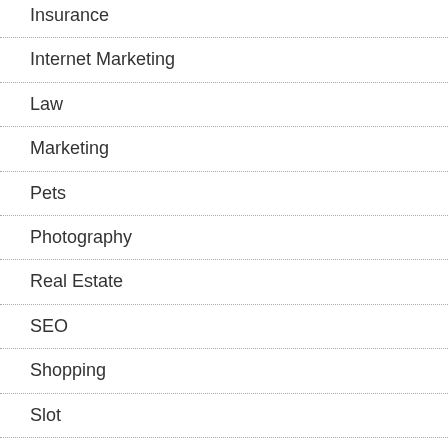Insurance
Internet Marketing
Law
Marketing
Pets
Photography
Real Estate
SEO
Shopping
Slot
Social Media